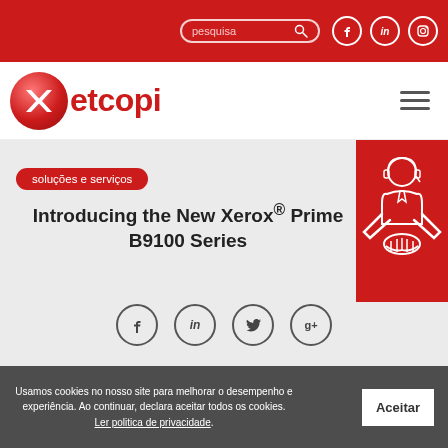[Figure (screenshot): Top red navigation bar with search box and social media icons (Facebook, LinkedIn, Instagram)]
[Figure (logo): Xetcopi logo with red ball and text, hamburger menu icon]
[Figure (illustration): Red panel on right with white line illustration of a person with headset and handshake]
soluções e serviços
Introducing the New Xerox® PrimeLinkB9100 Series
[Figure (infographic): Social share icons row: Facebook, LinkedIn, Twitter, Google+]
Usamos cookies no nosso site para melhorar o desempenho e experiência. Ao continuar, declara aceitar todos os cookies. Ler politica de privacidade.